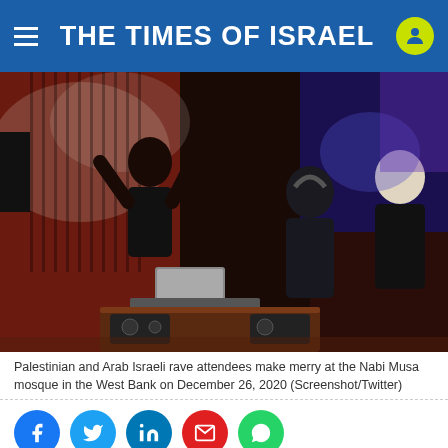THE TIMES OF ISRAEL
[Figure (photo): Palestinian and Arab Israeli rave attendees at Nabi Musa mosque, West Bank, December 26, 2020 - DJ setup with laptop and mixing equipment, people dancing in a darkened venue with red and blue lighting]
Palestinian and Arab Israeli rave attendees make merry at the Nabi Musa mosque in the West Bank on December 26, 2020 (Screenshot/Twitter)
[Figure (other): Social media share buttons: Facebook, Twitter, LinkedIn, Email, WhatsApp]
A Satu... t a West b... nd
[Figure (other): Advertisement: Hauschild SpeedMixer® - You Name It. We Mix It - OPEN button]